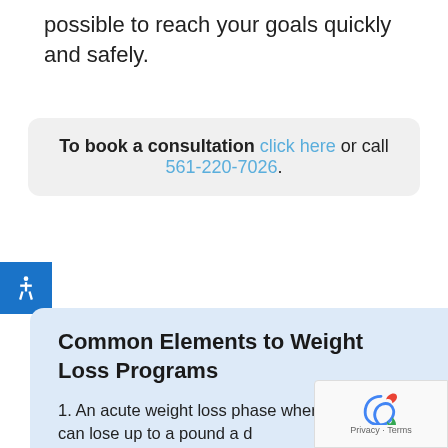possible to reach your goals quickly and safely.
To book a consultation click here or call 561-220-7026.
Common Elements to Weight Loss Programs
An acute weight loss phase where patients can lose up to a pound a d
A transition phase where...